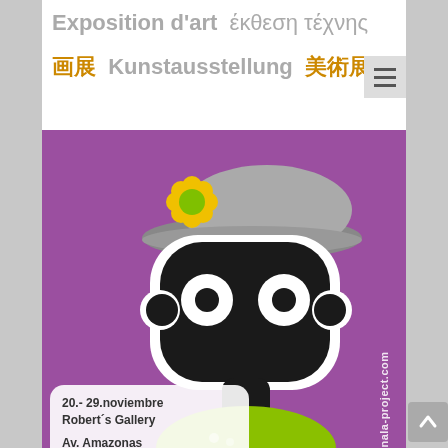Exposition d'art  έκθεση τέχνης  画展  Kunstausstellung  美術展
[Figure (illustration): Art exhibition poster with a cartoon character (black rounded face with white eyes, wearing a grey brimmed hat with a yellow and green flower). The character wears a green top. Purple background. White speech-bubble box in lower left with event details. Vertical website URL on the right side.]
20.- 29.noviembre
Robert´s Gallery

Av. Amazonas
N24-03 y Wilson

Quito, Ecuador
www.the-nala-project.com